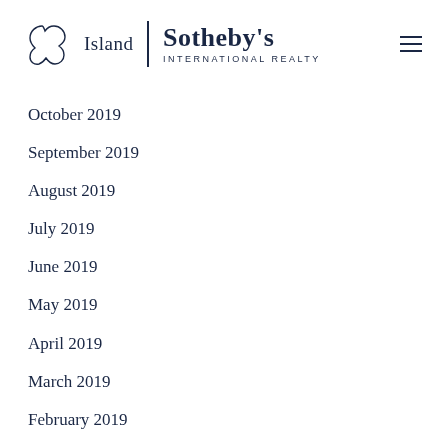[Figure (logo): Island Sotheby's International Realty logo with island outline icon]
October 2019
September 2019
August 2019
July 2019
June 2019
May 2019
April 2019
March 2019
February 2019
January 2019
December 2018
November 2018